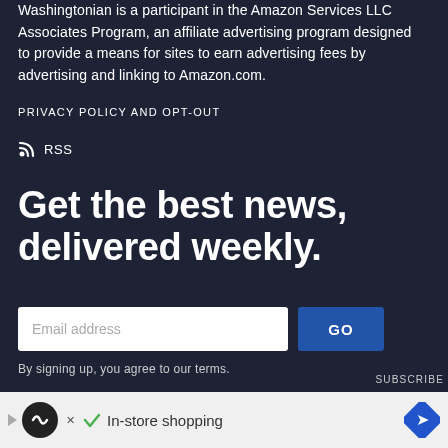Washingtonian is a participant in the Amazon Services LLC Associates Program, an affiliate advertising program designed to provide a means for sites to earn advertising fees by advertising and linking to Amazon.com.
PRIVACY POLICY AND OPT-OUT
RSS
Get the best news, delivered weekly.
Email address  GO
By signing up, you agree to our terms.
SUBSCRIBE
[Figure (other): Advertisement banner with icons and 'In-store shopping' text]